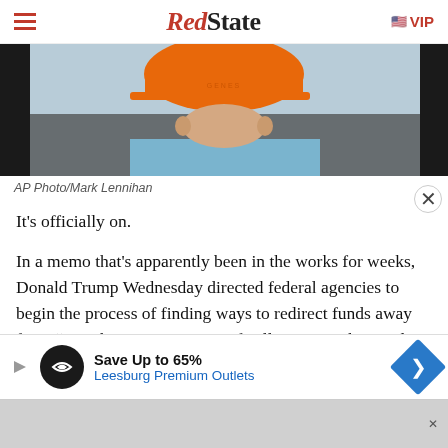RedState VIP
[Figure (photo): Person wearing an orange cap and blue shirt, photographed from behind/side, cropped to show head and upper torso]
AP Photo/Mark Lennihan
It's officially on.
In a memo that’s apparently been in the works for weeks, Donald Trump Wednesday directed federal agencies to begin the process of finding ways to redirect funds away from “anarchist” cities — specifically New York, Seattle, Washington DC, and Portland — in a move that could effectively cut them off from federal
[Figure (infographic): Advertisement banner: Save Up to 65% Leesburg Premium Outlets]